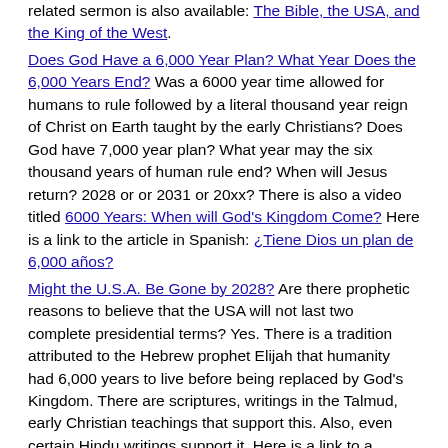related sermon is also available: The Bible, the USA, and the King of the West. Does God Have a 6,000 Year Plan? What Year Does the 6,000 Years End? Was a 6000 year time allowed for humans to rule followed by a literal thousand year reign of Christ on Earth taught by the early Christians? Does God have 7,000 year plan? What year may the six thousand years of human rule end? When will Jesus return? 2028 or or 2031 or 20xx? There is also a video titled 6000 Years: When will God's Kingdom Come? Here is a link to the article in Spanish: ¿Tiene Dios un plan de 6,000 años? Might the U.S.A. Be Gone by 2028? Are there prophetic reasons to believe that the USA will not last two complete presidential terms? Yes. There is a tradition attributed to the Hebrew prophet Elijah that humanity had 6,000 years to live before being replaced by God's Kingdom. There are scriptures, writings in the Talmud, early Christian teachings that support this. Also, even certain Hindu writings support it. Here is a link to a related video: Is the USA prophesied to be destroyed by 2028? In Spanish: Seran los Estados Unidos Destruidos en el 2028? The Great Tribulation: What Happens First? What events have happened? What are some events that are now happening? And what events need to happen for the Great Tribulation to start? Here is a link to a related sermon video: Counting Down to the Great Tribulation. Here is a video in the Spanish language: Contando los eventos y el inicio de la Gran Tribulación. When Will the Great Tribulation Begin? 2022, 2023, or 2024? Can the Great Tribulation begin today? What happens before the Great Tribulation